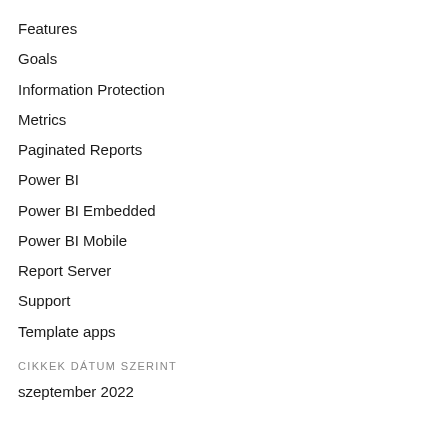Features
Goals
Information Protection
Metrics
Paginated Reports
Power BI
Power BI Embedded
Power BI Mobile
Report Server
Support
Template apps
CIKKEK DÁTUM SZERINT
szeptember 2022